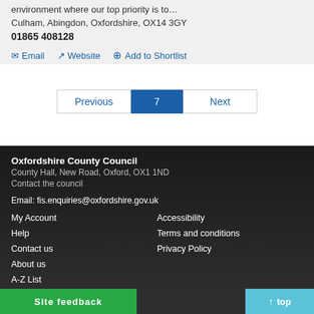environment where our top priority is to…
Culham, Abingdon, Oxfordshire, OX14 3GY
01865 408128
Email
Website
Add to Shortlist
Previous
7
Next
Oxfordshire County Council
County Hall, New Road, Oxford, OX1 1ND
Contact the council

Email: fis.enquiries@oxfordshire.gov.uk
My Account  Accessibility
Help  Terms and conditions
Contact us  Privacy Policy
About us
A-Z List
Site feedback
top